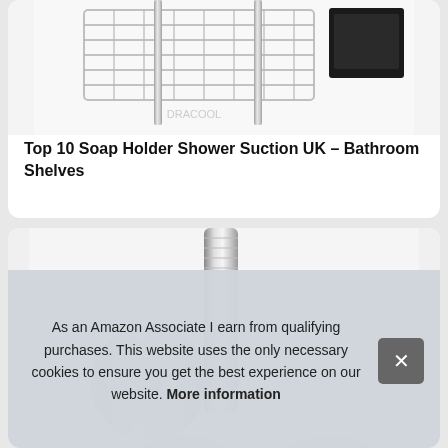[Figure (photo): Chrome wire shower caddy / soap holder product photo on white background]
Top 10 Soap Holder Shower Suction UK – Bathroom Shelves
[Figure (photo): Chrome shower hose and suction cup product photo on white background]
As an Amazon Associate I earn from qualifying purchases. This website uses the only necessary cookies to ensure you get the best experience on our website. More information